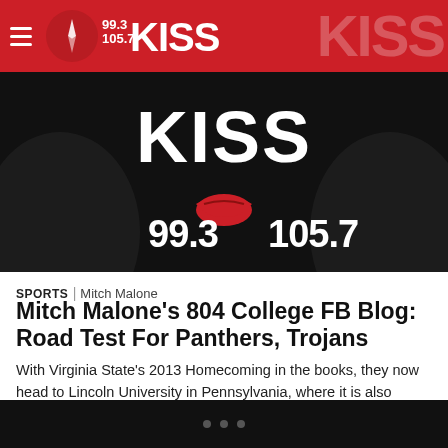99.3 / 105.7 KISS
[Figure (photo): KISS 99.3 / 105.7 radio station logo branding image on dark background with red lips graphic and text '99.3 KISS 105.7']
SPORTS | Mitch Malone
Mitch Malone's 804 College FB Blog: Road Test For Panthers, Trojans
With Virginia State's 2013 Homecoming in the books, they now head to Lincoln University in Pennsylvania, where it is also Homecoming on Saturday, so the Trojans must mentally place themselves on the “other” side of the field on their opponent’s special day.  So far, whatever the situation has called for, State has found the formula to pull […]